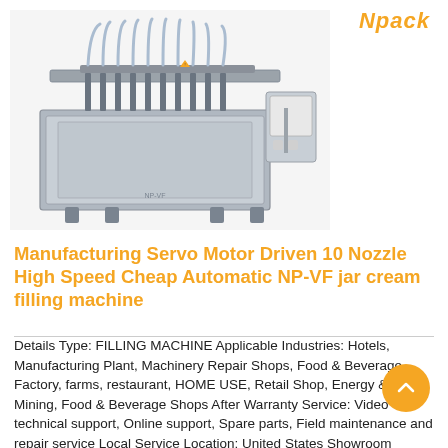Npack
[Figure (photo): Industrial servo motor driven 10-nozzle automatic jar cream filling machine in stainless steel finish with control panel on the right side]
Manufacturing Servo Motor Driven 10 Nozzle High Speed Cheap Automatic NP-VF jar cream filling machine
Details Type: FILLING MACHINE Applicable Industries: Hotels, Manufacturing Plant, Machinery Repair Shops, Food & Beverage Factory, farms, restaurant, HOME USE, Retail Shop, Energy & Mining, Food & Beverage Shops After Warranty Service: Video technical support, Online support, Spare parts, Field maintenance and repair service Local Service Location: United States Showroom Location: United